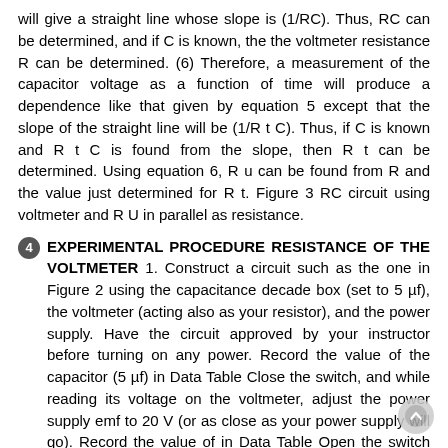will give a straight line whose slope is (1/RC). Thus, RC can be determined, and if C is known, the the voltmeter resistance R can be determined. (6) Therefore, a measurement of the capacitor voltage as a function of time will produce a dependence like that given by equation 5 except that the slope of the straight line will be (1/R t C). Thus, if C is known and R t C is found from the slope, then R t can be determined. Using equation 6, R u can be found from R and the value just determined for R t. Figure 3 RC circuit using voltmeter and R U in parallel as resistance.
4 EXPERIMENTAL PROCEDURE RESISTANCE OF THE VOLTMETER
1. Construct a circuit such as the one in Figure 2 using the capacitance decade box (set to 5 µf), the voltmeter (acting also as your resistor), and the power supply. Have the circuit approved by your instructor before turning on any power. Record the value of the capacitor (5 µf) in Data Table Close the switch, and while reading its voltage on the voltmeter, adjust the power supply emf to 20 V (or as close as your power supply will go). Record the value of in Data Table Open the switch and simultaneously start the timer. The person using the timer should also open the switch. 4. The voltmeter reading will